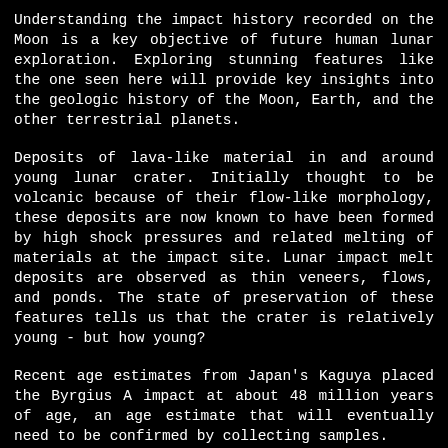Understanding the impact history recorded on the Moon is a key objective of future human lunar exploration. Exploring stunning features like the one seen here will provide key insights into the geologic history of the Moon, Earth, and the other terrestrial planets.
Deposits of lava-like material in and around young lunar crater. Initially thought to be volcanic because of their flow-like morphology, these deposits are now known to have been formed by high shock pressures and related melting of materials at the impact site. Lunar impact melt deposits are observed as thin veneers, flows, and ponds. The state of preservation of these features tells us that the crater is relatively young - but how young?
Recent age estimates from Japan's Kaguya placed the Byrgius A impact at about 48 million years of age, an age estimate that will eventually need to be confirmed by collecting samples.
The spectacular leveed flow is about 3.2 km from the crest of the crater rim. Distinctive lobes and surface flow features